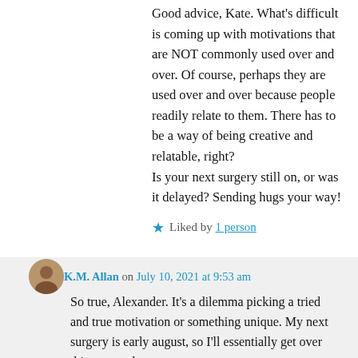Good advice, Kate. What's difficult is coming up with motivations that are NOT commonly used over and over. Of course, perhaps they are used over and over because people readily relate to them. There has to be a way of being creative and relatable, right? Is your next surgery still on, or was it delayed? Sending hugs your way!
Liked by 1 person
K.M. Allan on July 10, 2021 at 9:53 am
So true, Alexander. It's a dilemma picking a tried and true motivation or something unique. My next surgery is early august, so I'll essentially get over this one, and go